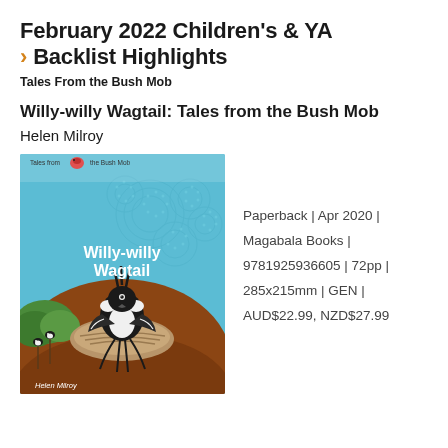February 2022 Children's & YA > Backlist Highlights
Tales From the Bush Mob
Willy-willy Wagtail: Tales from the Bush Mob
Helen Milroy
[Figure (photo): Book cover of 'Willy-willy Wagtail: Tales from the Bush Mob' by Helen Milroy. Blue background with Aboriginal dot art pattern. Title text in white. Illustration of a black and white willie wagtail bird sitting in a nest, with two small birds on stems below.]
Paperback | Apr 2020 | Magabala Books | 9781925936605 | 72pp | 285x215mm | GEN | AUD$22.99, NZD$27.99